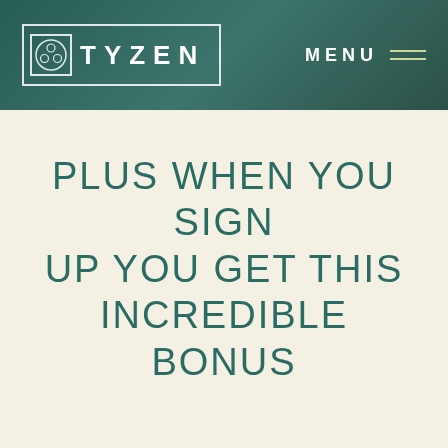TYZEN — MENU
PLUS WHEN YOU SIGN UP YOU GET THIS INCREDIBLE BONUS